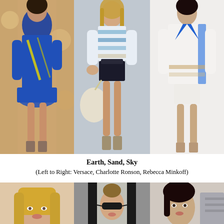[Figure (photo): Three fashion runway photos side by side: left - model in blue and yellow printed romper with strappy heels (Versace); center - model in blue striped top and black shorts with cream bag (Charlotte Ronson); right - model in white jacket with blue accents and white shorts (Rebecca Minkoff)]
Earth, Sand, Sky
(Left to Right: Versace, Charlotte Ronson, Rebecca Minkoff)
[Figure (photo): Three partial fashion photos at the bottom of the page showing models' faces and upper bodies, cropped.]